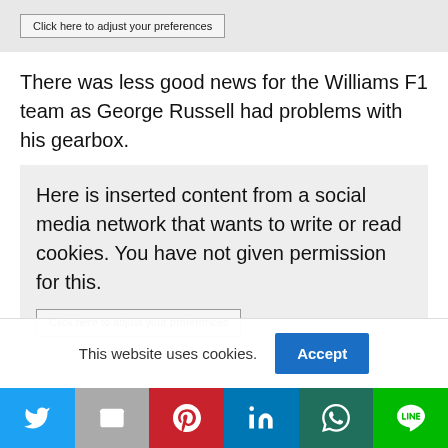Click here to adjust your preferences
There was less good news for the Williams F1 team as George Russell had problems with his gearbox.
Here is inserted content from a social media network that wants to write or read cookies. You have not given permission for this.
Click here to adjust your preferences
This website uses cookies.
Accept
Social share icons: Twitter, Email, Pinterest, LinkedIn, WhatsApp, Line